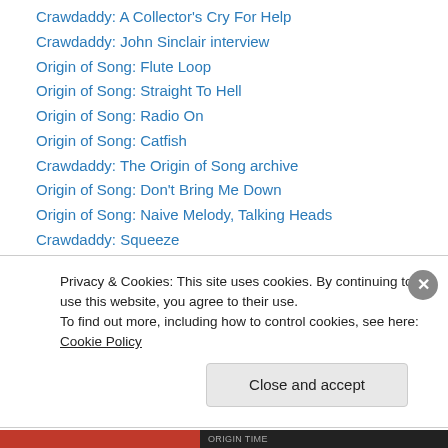Crawdaddy: A Collector's Cry For Help
Crawdaddy: John Sinclair interview
Origin of Song: Flute Loop
Origin of Song: Straight To Hell
Origin of Song: Radio On
Origin of Song: Catfish
Crawdaddy: The Origin of Song archive
Origin of Song: Don't Bring Me Down
Origin of Song: Naive Melody, Talking Heads
Crawdaddy: Squeeze
Crawdaddy: Elliott Smith
Crawdaddy: 2010 Top 10
Crawdaddy: Oasis
Privacy & Cookies: This site uses cookies. By continuing to use this website, you agree to their use.
To find out more, including how to control cookies, see here: Cookie Policy
Close and accept